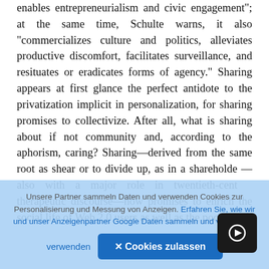enables entrepreneurialism and civic engagement"; at the same time, Schulte warns, it also “commercializes culture and politics, alleviates productive discomfort, facilitates surveillance, and resituates or eradicates forms of agency.” Sharing appears at first glance the perfect antidote to the privatization implicit in personalization, for sharing promises to collectivize. After all, what is sharing about if not community and, according to the aphorism, caring? Sharing—derived from the same root as shear or to divide up, as in a shareholder—also with a major role in twentieth-century therapeutic discourse—now promises to enrich the social life of Web 2.0 users as well as the pockets of
Unsere Partner sammeln Daten und verwenden Cookies zur Personalisierung und Messung von Anzeigen. Erfahren Sie, wie wir und unser Anzeigenpartner Google Daten sammeln und verwenden